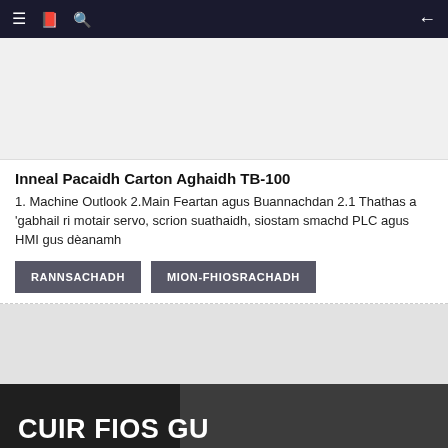Navigation bar with menu, book, search icons and back arrow
[Figure (photo): Product image placeholder - light grey area for packaging machine photo]
Inneal Pacaidh Carton Aghaidh TB-100
1. Machine Outlook 2.Main Feartan agus Buannachdan 2.1 Thathas a 'gabhail ri motair servo, scrion suathaidh, siostam smachd PLC agus HMI gus dèanamh
RANNSACHADH
MION-FHIOSRACHADH
[Figure (photo): Middle section grey image area]
[Figure (photo): Bottom dark photo background with Andy logo and machinery/tablet imagery]
CUIR FIOS GU